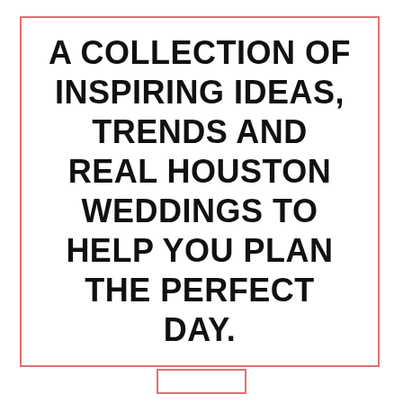A COLLECTION OF INSPIRING IDEAS, TRENDS AND REAL HOUSTON WEDDINGS TO HELP YOU PLAN THE PERFECT DAY.